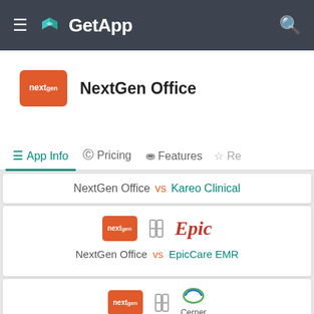GetApp
NextGen Office
App Info | Pricing | Features | Re...
NextGen Office vs Kareo Clinical
NextGen Office vs EpicCare EMR
NextGen Office vs Cerner PowerChart Ambulatory EHR